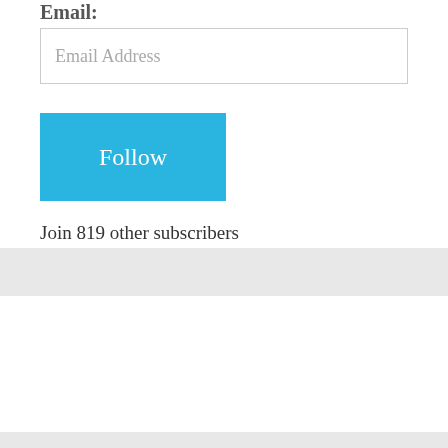Email:
Email Address
Follow
Join 819 other subscribers
Email me!